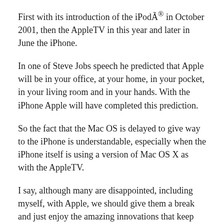First with its introduction of the iPodÃ® in October 2001, then the AppleTV in this year and later in June the iPhone.
In one of Steve Jobs speech he predicted that Apple will be in your office, at your home, in your pocket, in your living room and in your hands. With the iPhone Apple will have completed this prediction.
So the fact that the Mac OS is delayed to give way to the iPhone is understandable, especially when the iPhone itself is using a version of Mac OS X as with the AppleTV.
I say, although many are disappointed, including myself, with Apple, we should give them a break and just enjoy the amazing innovations that keep rolling out of the “little” Cupertino company.